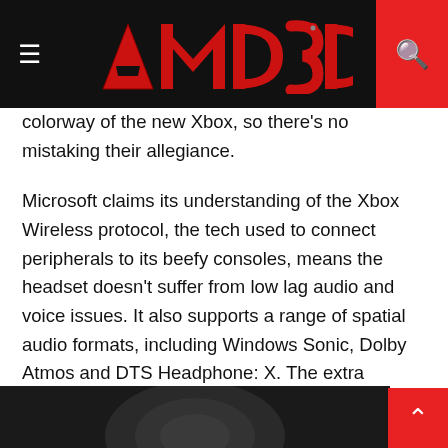AMD3D
colorway of the new Xbox, so there's no mistaking their allegiance.
Microsoft claims its understanding of the Xbox Wireless protocol, the tech used to connect peripherals to its beefy consoles, means the headset doesn't suffer from low lag audio and voice issues. It also supports a range of spatial audio formats, including Windows Sonic, Dolby Atmos and DTS Headphone: X. The extra immersion offered by the surround sound, object-based tech is not only great for bringing virtual environments to life, it also helps you to identify where those enemy footsteps are approaching from.
[Figure (photo): Dark image showing partial view of a headset or gaming peripheral against black background]